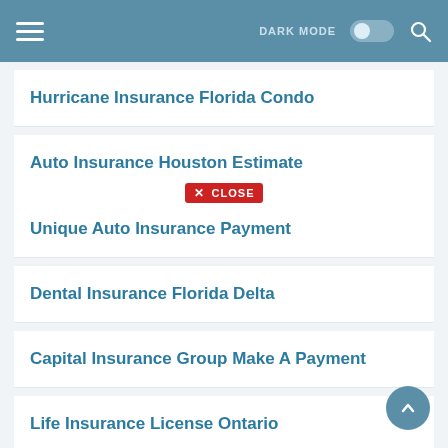DARK MODE [toggle] [search]
Hurricane Insurance Florida Condo
Auto Insurance Houston Estimate
Unique Auto Insurance Payment
Dental Insurance Florida Delta
Capital Insurance Group Make A Payment
Life Insurance License Ontario
7 Day Insurance Near Me
Travelers Insurance Media Contact